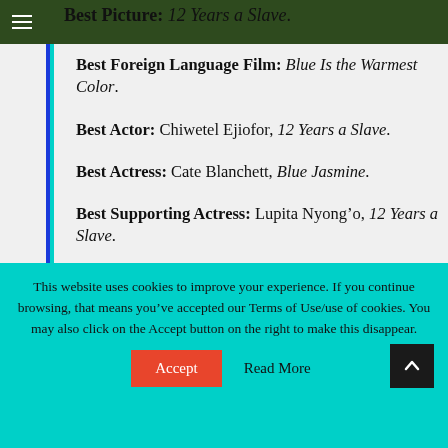Best Picture: 12 Years a Slave.
Best Foreign Language Film: Blue Is the Warmest Color.
Best Actor: Chiwetel Ejiofor, 12 Years a Slave.
Best Actress: Cate Blanchett, Blue Jasmine.
Best Supporting Actress: Lupita Nyong’o, 12 Years a Slave.
Best Supporting Actor: Jared Leto, Dallas Buyers
This website uses cookies to improve your experience. If you continue browsing, that means you’ve accepted our Terms of Use/use of cookies. You may also click on the Accept button on the right to make this disappear.